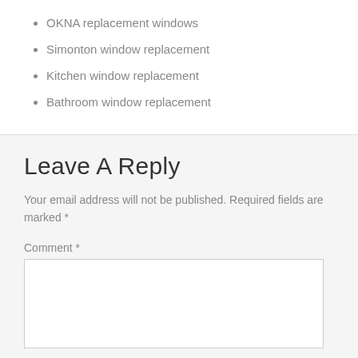OKNA replacement windows
Simonton window replacement
Kitchen window replacement
Bathroom window replacement
Leave A Reply
Your email address will not be published. Required fields are marked *
Comment *